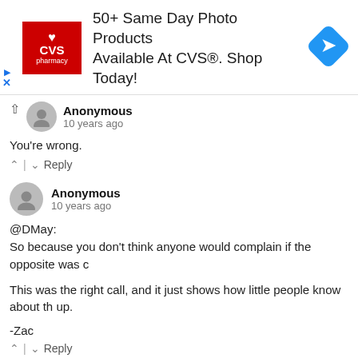[Figure (infographic): CVS Pharmacy advertisement banner: red CVS logo with heart icon, text '50+ Same Day Photo Products Available At CVS®. Shop Today!', blue diamond navigation icon on right. Small arrow and X controls on left side.]
Anonymous
10 years ago
You're wrong.
↑ | ↓ Reply
Anonymous
10 years ago
@DMay:
So because you don't think anyone would complain if the opposite was c
This was the right call, and it just shows how little people know about th up.
-Zac
↑ | ↓ Reply
DMay